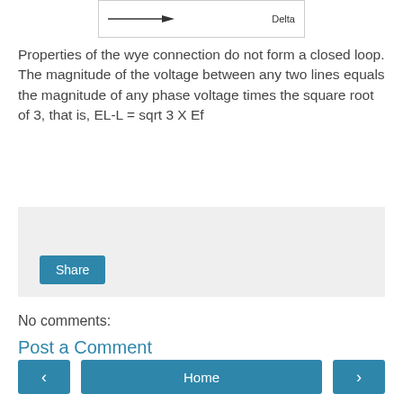[Figure (schematic): Partial diagram showing an arrow and the label 'Delta', inside a bordered box — top portion of a wye/delta connection diagram.]
Properties of the wye connection do not form a closed loop. The magnitude of the voltage between any two lines equals the magnitude of any phase voltage times the square root of 3, that is, EL-L = sqrt 3 X Ef
[Figure (other): Share button area — grey box with a Share button]
No comments:
Post a Comment
[Figure (other): Navigation row with left arrow button, Home button, and right arrow button]
View web version
Powered by Blogger.